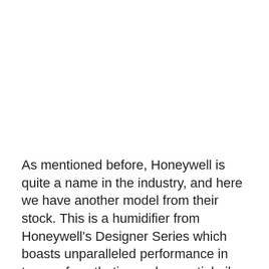As mentioned before, Honeywell is quite a name in the industry, and here we have another model from their stock. This is a humidifier from Honeywell's Designer Series which boasts unparalleled performance in terms of aesthetics and essential oil diffusion.